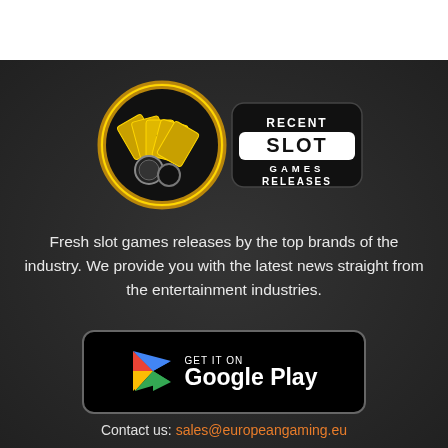[Figure (logo): Recent Slot Games Releases logo — circular emblem with gold playing cards and poker chips on black background, with text 'RECENT SLOT GAMES RELEASES' in white on black pill shape]
Fresh slot games releases by the top brands of the industry. We provide you with the latest news straight from the entertainment industries.
[Figure (logo): GET IT ON Google Play button — black rounded rectangle with Google Play triangle logo in red/green/yellow/blue and white text]
Contact us: sales@europeangaming.eu